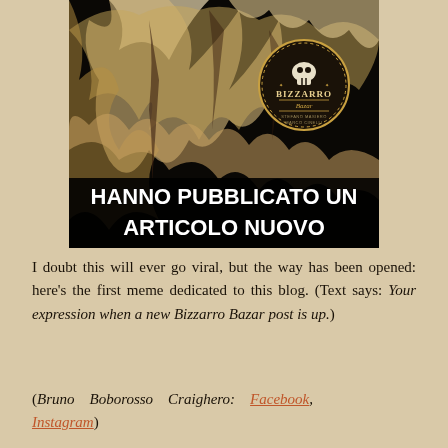[Figure (photo): A meme image with a dark, distressed high-contrast photo background (possibly a decayed or skeletal figure) with a circular badge logo reading 'Bizzarro Bazar' with a skull icon and smaller text underneath. Overlaid at the bottom in bold white uppercase text: 'HANNO PUBBLICATO UN ARTICOLO NUOVO']
I doubt this will ever go viral, but the way has been opened: here's the first meme dedicated to this blog. (Text says: Your expression when a new Bizzarro Bazar post is up.)
(Bruno Boborosso Craighero: Facebook, Instagram)